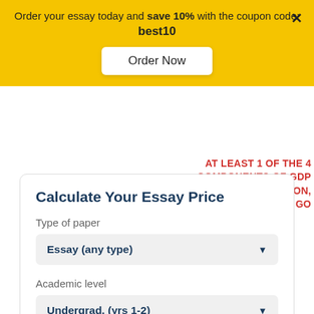Order your essay today and save 10% with the coupon code: best10
Order Now
AT LEAST 1 OF THE 4 COMPONENTS OF GDP (CONSUMPTION, INVESTMENT, GO
Calculate Your Essay Price
Type of paper
Essay (any type)
Academic level
Undergrad. (yrs 1-2)